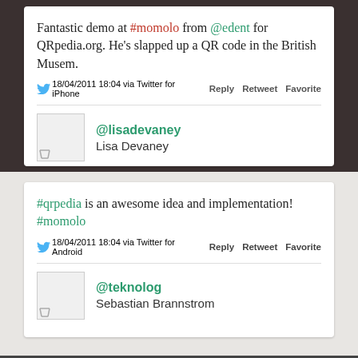Fantastic demo at #momolo from @edent for QRpedia.org. He's slapped up a QR code in the British Musem.
18/04/2011 18:04 via Twitter for iPhone   Reply   Retweet   Favorite
@lisadevaney
Lisa Devaney
#qrpedia is an awesome idea and implementation! #momolo
18/04/2011 18:04 via Twitter for Android   Reply   Retweet   Favorite
@teknolog
Sebastian Brannstrom